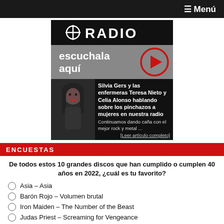≡ Menú
[Figure (screenshot): Radio banner with RADIO text and logo icon on black background]
[Figure (screenshot): Gray banner with text 'escuchala aquí' and red play button circle]
[Figure (photo): Article card with photo of woman with dark hair, title 'Silvia Gers y las enfermeras Teresa Nieto y Celia Alonso hablando sobre los pinchazos a mujeres en nuestra radio', excerpt 'Continuamos dando caña con el mejor rock y metal ... [Leer artículo completo]']
ENCUESTAS
De todos estos 10 grandes discos que han cumplido o cumplen 40 años en 2022, ¿cuál es tu favorito?
Asia – Asia
Barón Rojo – Volumen brutal
Iron Maiden – The Number of the Beast
Judas Priest – Screaming for Vengeance